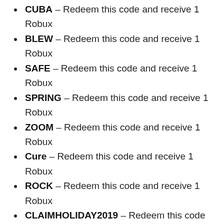CUBA – Redeem this code and receive 1 Robux
BLEW – Redeem this code and receive 1 Robux
SAFE – Redeem this code and receive 1 Robux
SPRING – Redeem this code and receive 1 Robux
ZOOM – Redeem this code and receive 1 Robux
Cure – Redeem this code and receive 1 Robux
ROCK – Redeem this code and receive 1 Robux
CLAIMHOLIDAY2019 – Redeem this code and receive 1 Robux
jailbreak1m – Redeem this code and receive 1 Robux
Poo – Redeem this code and receive 1 Robux
How To Redeem ClaimRBX Promo Codes?
The promo code claiming process is easy if the player has already set up their ClaimRBX account. If not, there is nothing to worry about; we will walk the player through the process to redeem the promo codes.